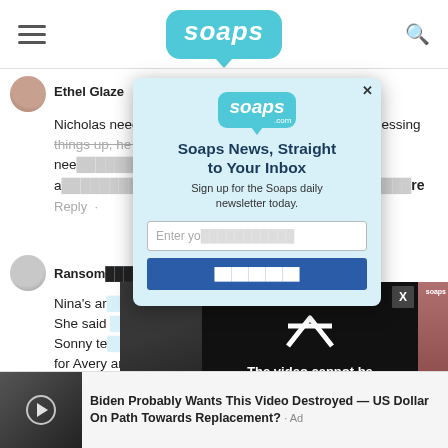soaps
Ethel Glaze · 2y ago
Nicholas needs to stay in hiding, because he's really messing things up, he has money to hire people to do what nee... otten the portrait a... Charlotte, but when Val... re
Reply ·
Ransom...
Nina's ar... She said ... Sonny te... for Avery and bro...
[Figure (screenshot): Newsletter signup modal popup: Soaps.com logo, title 'Soaps News, Straight to Your Inbox', subtitle 'Sign up for the Soaps daily newsletter today.', email input field, blue subscribe button]
[Figure (screenshot): Video player overlay showing error message: 'The video cannot be played in this browser. (Error Code: 242632)']
Nina is so concerned about Charlotte She doe...
Biden Probably Wants This Video Destroyed — US Dollar On Path Towards Replacement? · Ad